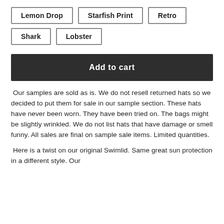Lemon Drop
Starfish Print
Retro
Shark
Lobster
Add to cart
Our samples are sold as is. We do not resell returned hats so we decided to put them for sale in our sample section. These hats have never been worn. They have been tried on. The bags might be slightly wrinkled. We do not list hats that have damage or smell funny. All sales are final on sample sale items. Limited quantities.
Here is a twist on our original Swimlid. Same great sun protection in a different style. Our